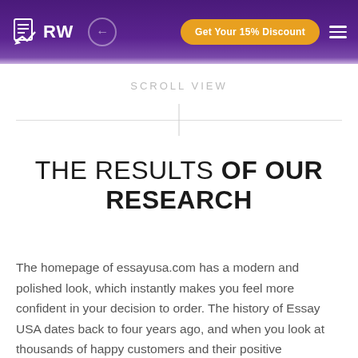RW — Get Your 15% Discount
SCROLL VIEW
THE RESULTS OF OUR RESEARCH
The homepage of essayusa.com has a modern and polished look, which instantly makes you feel more confident in your decision to order. The history of Essay USA dates back to four years ago, and when you look at thousands of happy customers and their positive testimonials, as well as the 94% satisfaction rate, you